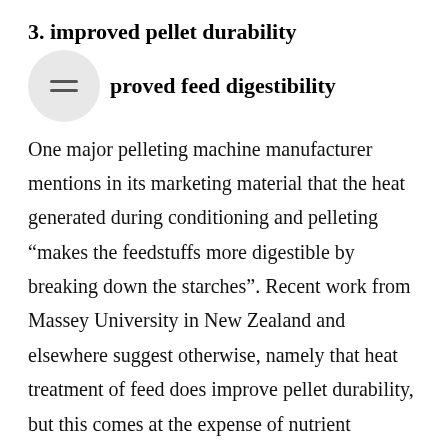3. improved pellet durability
improved feed digestibility
One major pelleting machine manufacturer mentions in its marketing material that the heat generated during conditioning and pelleting “makes the feedstuffs more digestible by breaking down the starches”. Recent work from Massey University in New Zealand and elsewhere suggest otherwise, namely that heat treatment of feed does improve pellet durability, but this comes at the expense of nutrient digestibility. It has been reported in a study in 2011 that by differentiating